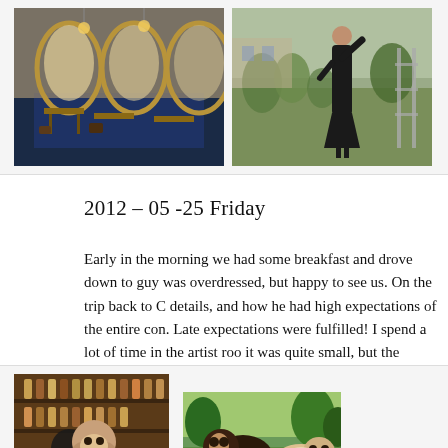[Figure (photo): Interior shot of a large hall/library with blue carpet, tables, chairs, and arched windows with warm lighting]
[Figure (photo): Woman in a long black dress standing outdoors in an unkempt area with scaffolding in the background]
2012 – 05 -25 Friday
Early in the morning we had some breakfast and drove down to guy was overdressed, but happy to see us. On the trip back to C details, and how he had high expectations of the entire con. Late expectations were fulfilled! I spend a lot of time in the artist roo it was quite small, but the atmosphere made up for it. In the eve about 3 miles down the road, and that evening I rocked out on th
[Figure (photo): Person with a large stuffed dog/bear toy in what appears to be a shop with shelves of bottles]
[Figure (photo): Two dogs outdoors near trees]